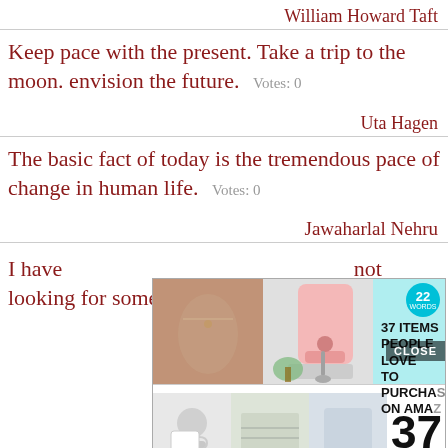William Howard Taft
Keep pace with the present. Take a trip to the moon. envision the future.  Votes: 0
Uta Hagen
The basic fact of today is the tremendous pace of change in human life.  Votes: 0
Jawaharlal Nehru
[Figure (screenshot): Advertisement banner showing '37 ITEMS PEOPLE LOVE TO PURCHASE ON AMAZON' with images of products and a 22 Words badge, plus a CLOSE button overlay and a second ad row showing '37 GENIUS AMAZON PRODUCTS THAT CAN BE USED BY ANYONE']
I have not looking for something.  Votes: 0
Cy Twombly